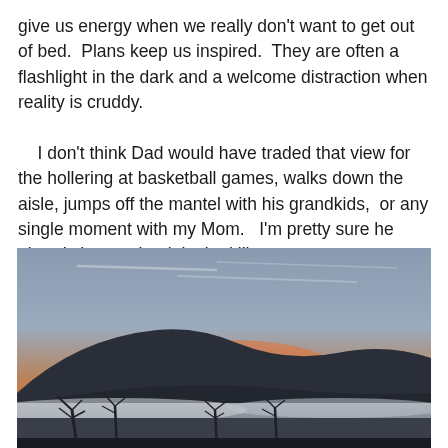give us energy when we really don't want to get out of bed.  Plans keep us inspired.  They are often a flashlight in the dark and a welcome distraction when reality is cruddy.
    I don't think Dad would have traded that view for the hollering at basketball games, walks down the aisle, jumps off the mantel with his grandkids,  or any single moment with my Mom.   I'm pretty sure he already knew what it looked like, anyway.
[Figure (photo): A sunset photograph showing a mountain silhouette against an orange and pink sky, with misty fog in the valley below and bare tree branches visible in the foreground.]